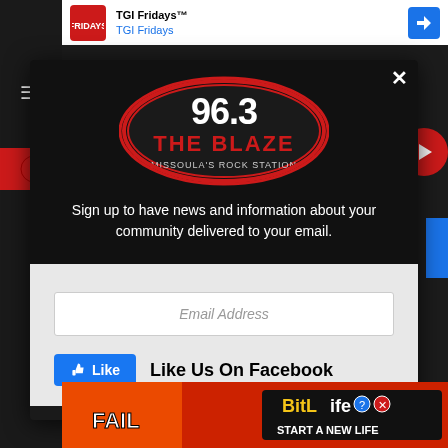[Figure (screenshot): TGI Fridays advertisement banner at top with logo and blue directional arrow icon]
[Figure (logo): 96.3 The Blaze - Missoula's Rock Station radio station logo, oval shape with red and black design]
Sign up to have news and information about your community delivered to your email.
Email Address
Like Us On Facebook
[Figure (screenshot): BitLife mobile game advertisement banner at bottom with fire imagery and 'START A NEW LIFE' text]